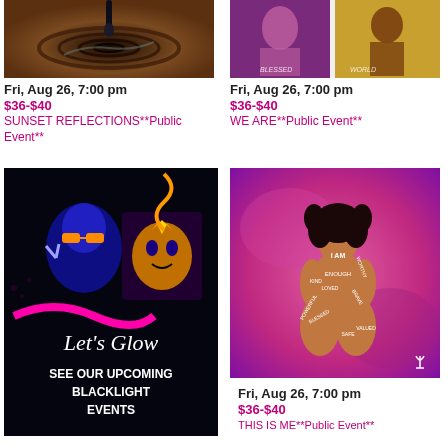[Figure (photo): Painting of a dark swirling vortex with chocolate/brown tones and a black liquid drip]
[Figure (photo): Two paintings side by side: a purple/pink abstract figure and a brown figure on gold background]
Fri, Aug 26, 7:00 pm
$36-$40
SUNSET REFLECTIONS**Public Event**
Fri, Aug 26, 7:00 pm
$36-$40
WE ARE**Public Event**
[Figure (photo): Let's Glow blacklight event promotional image with neon colors, person with sunglasses, tiger artwork, text: Let's Glow SEE OUR UPCOMING BLACKLIGHT EVENTS]
[Figure (photo): Painting of a woman sitting with words written on her body: I AM, ENOUGH, WORTHY, LOVED, KIND, BRAVE, BLESSED, POWERFUL, SAFE, VALUED on pink/purple background]
Fri, Aug 26, 7:00 pm
$36-$40
THIS IS ME**Public Event**